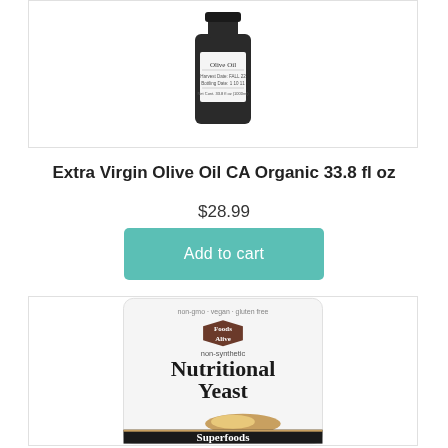[Figure (photo): Olive oil bottle with white label reading 'Olive Oil' in a dark glass bottle, cropped at top]
Extra Virgin Olive Oil CA Organic 33.8 fl oz
$28.99
Add to cart
[Figure (photo): Foods Alive Nutritional Yeast Superfoods bag with wooden spoon showing yellow powder, labeled non-synthetic, vegan, gluten free]